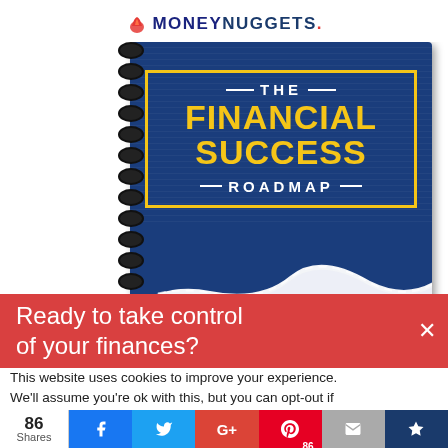[Figure (illustration): MoneyNuggets logo at the top with a flame icon and the brand name in dark blue and navy, with a red dot.]
[Figure (photo): A spiral-bound notebook with a dark blue cover titled 'THE FINANCIAL SUCCESS ROADMAP' in white and yellow text, with a road graphic at the bottom.]
Ready to take control of your finances?
This website uses cookies to improve your experience. We'll assume you're ok with this, but you can opt-out if
86 Shares